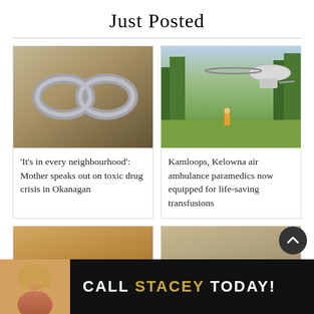Just Posted
[Figure (photo): Silver infinity symbol decorative object on a dark surface]
‘It’s in every neighbourhood’: Mother speaks out on toxic drug crisis in Okanagan
[Figure (photo): Helicopter landing in a field with emergency responder in foreground, trees behind]
Kamloops, Kelowna air ambulance paramedics now equipped for life-saving transfusions
[Figure (photo): Partial view of a building interior, bottom left]
[Figure (photo): Partial view of a building interior, bottom right]
[Figure (photo): Advertisement banner: woman smiling, text CALL STACEY TODAY!]